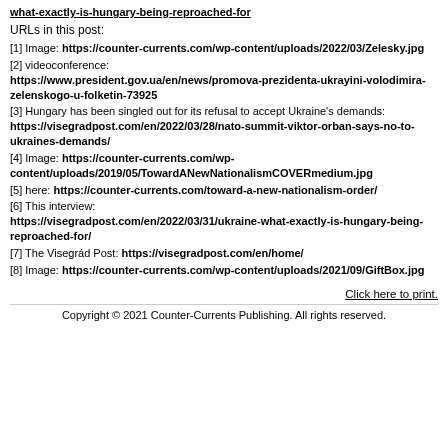what-exactly-is-hungary-being-reproached-for
URLs in this post:
[1] Image: https://counter-currents.com/wp-content/uploads/2022/03/Zelesky.jpg
[2] videoconference: https://www.president.gov.ua/en/news/promova-prezidenta-ukrayini-volodimira-zelenskogo-u-folketin-73925
[3] Hungary has been singled out for its refusal to accept Ukraine's demands: https://visegradpost.com/en/2022/03/28/nato-summit-viktor-orban-says-no-to-ukraines-demands/
[4] Image: https://counter-currents.com/wp-content/uploads/2019/05/TowardANewNationalismCOVERmedium.jpg
[5] here: https://counter-currents.com/toward-a-new-nationalism-order/
[6] This interview: https://visegradpost.com/en/2022/03/31/ukraine-what-exactly-is-hungary-being-reproached-for/
[7] The Visegrád Post: https://visegradpost.com/en/home/
[8] Image: https://counter-currents.com/wp-content/uploads/2021/09/GiftBox.jpg
Click here to print.
Copyright © 2021 Counter-Currents Publishing. All rights reserved.